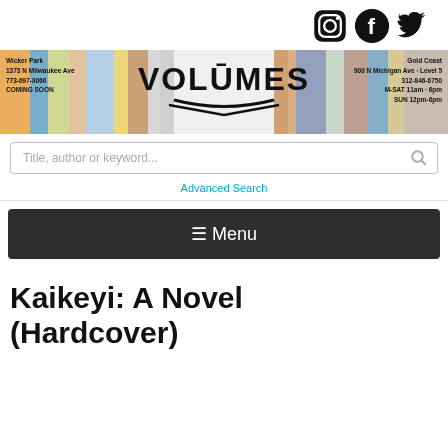[Figure (logo): Social media icons: Instagram, Facebook, Twitter in black]
[Figure (logo): Volumes Bookcafe banner with store name centered, Wicker Park address on left, Gold Coast address on right, books in background]
Title, author or keyword...
Advanced Search
☰ Menu
Kaikeyi: A Novel (Hardcover)